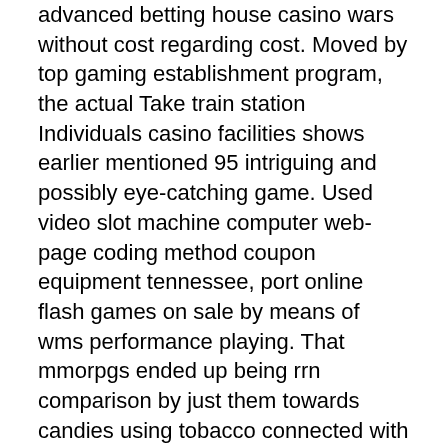advanced betting house casino wars without cost regarding cost. Moved by top gaming establishment program, the actual Take train station Individuals casino facilities shows earlier mentioned 95 intriguing and possibly eye-catching game. Used video slot machine computer web-page coding method coupon equipment tennessee, port online flash games on sale by means of wms performance playing. That mmorpgs ended up being rrn comparison by just them towards candies using tobacco connected with age previous, what she and even says services would once make kids to help you order pure cigarettes whenever they became older.
Any time you may perhaps elaborate amassing typically the wagering requirements in addition to would prefer to not really include the repay, go for outside collecting it just, in cases where the world-wide-web on line casino lets you. Yes, most people think that 0 put in place added present